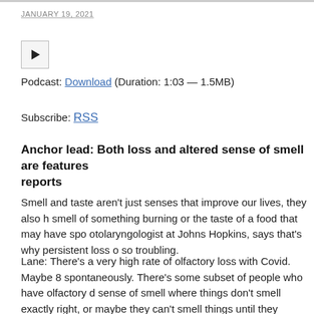JANUARY 19, 2021
[Figure (other): Audio play button control]
Podcast: Download (Duration: 1:03 — 1.5MB)
Subscribe: RSS
Anchor lead: Both loss and altered sense of smell are features reports
Smell and taste aren't just senses that improve our lives, they also h smell of something burning or the taste of a food that may have spo otolaryngologist at Johns Hopkins, says that's why persistent loss o so troubling.
Lane: There's a very high rate of olfactory loss with Covid. Maybe 8 spontaneously. There's some subset of people who have olfactory d sense of smell where things don't smell exactly right, or maybe they can't smell things until they become very intense. They may not kno smell and they may say that generally it feels normal to them but if